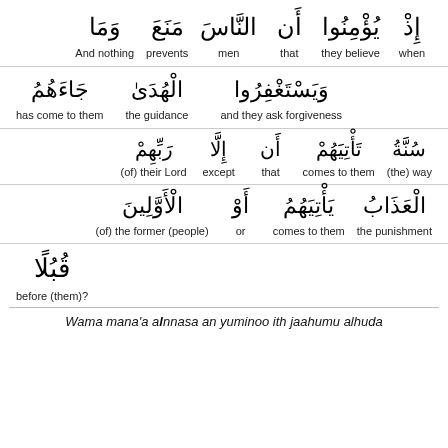Arabic text interlinear translation — Row 1: وَمَا (And nothing), مَنَعَ (prevents), النَّاسَ (men), أَن (that), يُؤْمِنُوا (they believe), إِذْ (when)
Row 2: جَاءَهُمُ (has come to them), الْهُدَىٰ (the guidance), وَيَسْتَغْفِرُوا (and they ask forgiveness)
Row 3: رَبِّهِمْ (of their Lord), إِلَّا (except), أَن (that), تَأْتِيَهُمْ (comes to them), سُنَّةُ (the way)
Row 4: الْأَوَّلِينَ (of the former people), أَوْ (or), يَأْتِيَهُمُ (comes to them), الْعَذَابُ (the punishment)
Row 5: قُبُلًا (before them?)
Wama mana'a alnnasa an yuminoo ith jaahumu alhuda